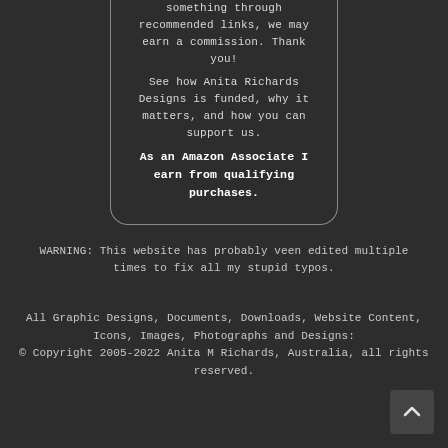something through recommended links, we may earn a commission. Thank you! See how Anita Richards Designs is funded, why it matters, and how you can support us. As an Amazon Associate I earn from qualifying purchases.
WARNING: This website has probably veen edited multiple times to fix all my stupid typos.
All Graphic Designs, Documents, Downloads, Website Content, Icons, Images, Photographs and Designs: © Copyright 2005-2022 Anita M Richards, Australia, all rights reserved.